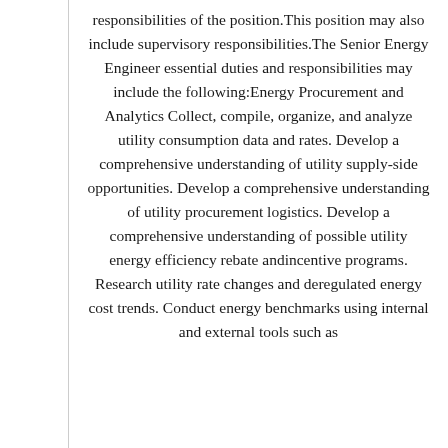responsibilities of the position.This position may also include supervisory responsibilities.The Senior Energy Engineer essential duties and responsibilities may include the following:Energy Procurement and Analytics Collect, compile, organize, and analyze utility consumption data and rates. Develop a comprehensive understanding of utility supply-side opportunities. Develop a comprehensive understanding of utility procurement logistics. Develop a comprehensive understanding of possible utility energy efficiency rebate andincentive programs. Research utility rate changes and deregulated energy cost trends. Conduct energy benchmarks using internal and external tools such as